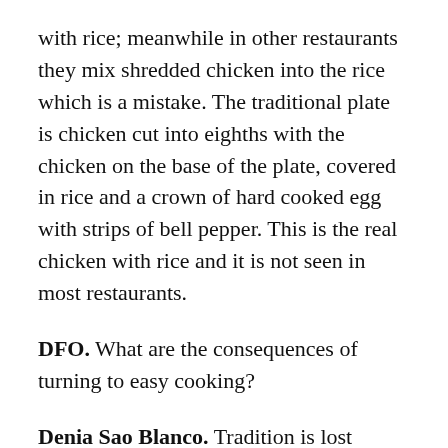with rice; meanwhile in other restaurants they mix shredded chicken into the rice which is a mistake. The traditional plate is chicken cut into eighths with the chicken on the base of the plate, covered in rice and a crown of hard cooked egg with strips of bell pepper. This is the real chicken with rice and it is not seen in most restaurants.
DFO. What are the consequences of turning to easy cooking?
Denia Sao Blanco. Tradition is lost because each dish is, as we say, “its name and surname”; each course was designed, studied, approved and patented in order to maintain its